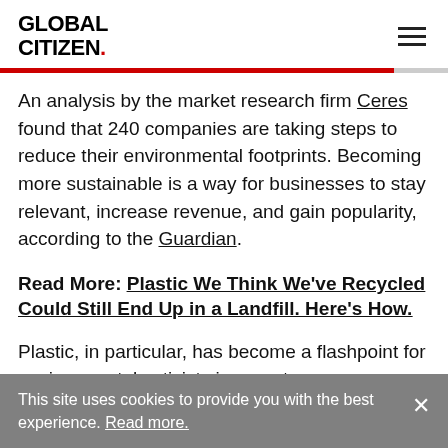GLOBAL CITIZEN. [hamburger menu icon]
An analysis by the market research firm Ceres found that 240 companies are taking steps to reduce their environmental footprints. Becoming more sustainable is a way for businesses to stay relevant, increase revenue, and gain popularity, according to the Guardian.
Read More: Plastic We Think We've Recycled Could Still End Up in a Landfill. Here's How.
Plastic, in particular, has become a flashpoint for environmental activists in recent years as
This site uses cookies to provide you with the best experience. Read more.